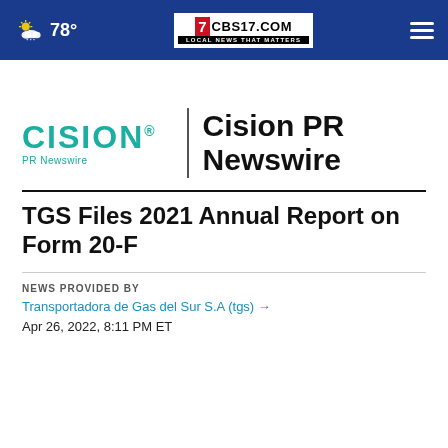78° CBS17.COM LOCAL NEWS THAT MATTERS
[Figure (logo): Cision PR Newswire logo with teal CISION wordmark and PR Newswire text, vertical divider, and bold black Cision PR Newswire text]
TGS Files 2021 Annual Report on Form 20-F
NEWS PROVIDED BY
Transportadora de Gas del Sur S.A (tgs) →
Apr 26, 2022, 8:11 PM ET